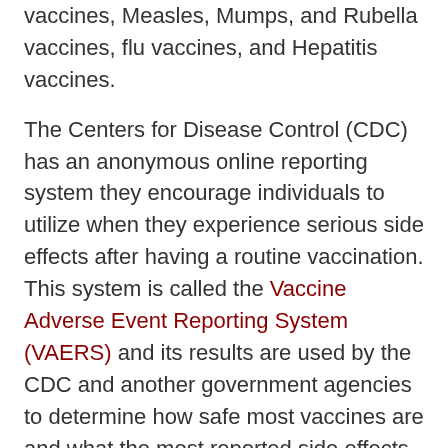vaccines, Measles, Mumps, and Rubella vaccines, flu vaccines, and Hepatitis vaccines.
The Centers for Disease Control (CDC) has an anonymous online reporting system they encourage individuals to utilize when they experience serious side effects after having a routine vaccination. This system is called the Vaccine Adverse Event Reporting System (VAERS) and its results are used by the CDC and another government agencies to determine how safe most vaccines are and what the most reported side effects tend to be.
As an example, during the year between June 2016 and July 2017, there were 27,570 reports made to VAERS which included negative side effects/symptoms. Most side effects were minor, but many others may have been long-lasting or permanent.